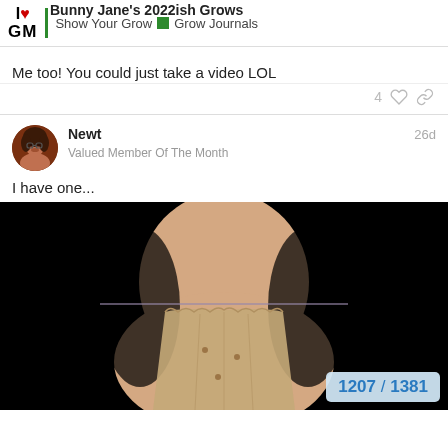I ❤ Bunny Jane's 2022ish Grows | Show Your Grow | Grow Journals
Me too! You could just take a video LOL
4 ♡ 🔗
Newt
Valued Member Of The Month
26d
I have one...
[Figure (photo): Photo of a person's torso/midsection wearing a beige/tan mesh or gauze garment tied with a thin cord, against a black background. The image shows a medical or post-surgical context.]
1207 / 1381